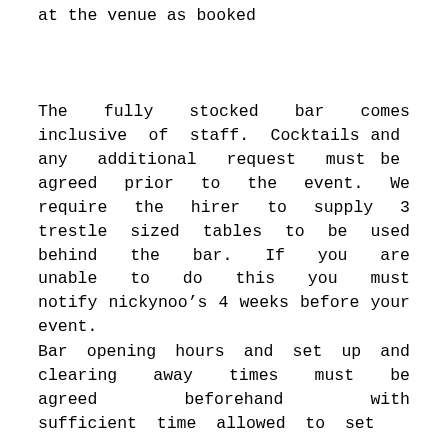at the venue as booked
The fully stocked bar comes inclusive of staff. Cocktails and any additional request must be agreed prior to the event. We require the hirer to supply 3 trestle sized tables to be used behind the bar. If you are unable to do this you must notify nickynoo’s 4 weeks before your event.
Bar opening hours and set up and clearing away times must be agreed beforehand with sufficient time allowed to set